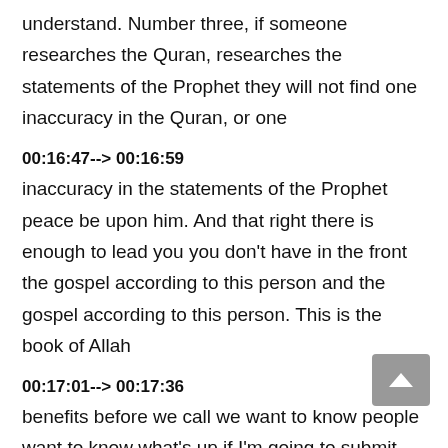understand. Number three, if someone researches the Quran, researches the statements of the Prophet they will not find one inaccuracy in the Quran, or one
00:16:47--> 00:16:59
inaccuracy in the statements of the Prophet peace be upon him. And that right there is enough to lead you you don't have in the front the gospel according to this person and the gospel according to this person. This is the book of Allah
00:17:01--> 00:17:36
benefits before we call we want to know people want to know what's up if I'm going to submit I'm gonna give up all the women and all the good times you know, I'm young I'm strong and I'm ready to go. But now you're talking about submitting and you know, leaving all these